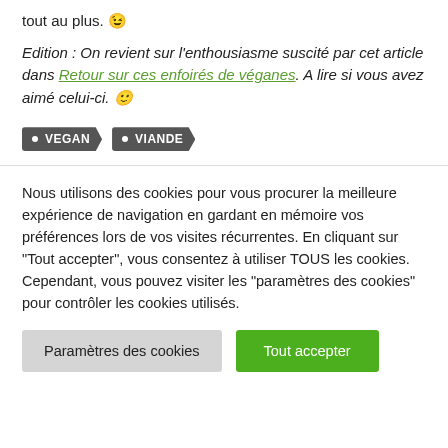tout au plus. 😉
Edition : On revient sur l'enthousiasme suscité par cet article dans Retour sur ces enfoirés de véganes. A lire si vous avez aimé celui-ci. 🙂
• VEGAN
• VIANDE
Nous utilisons des cookies pour vous procurer la meilleure expérience de navigation en gardant en mémoire vos préférences lors de vos visites récurrentes. En cliquant sur "Tout accepter", vous consentez à utiliser TOUS les cookies. Cependant, vous pouvez visiter les "paramètres des cookies" pour contrôler les cookies utilisés.
Paramètres des cookies
Tout accepter